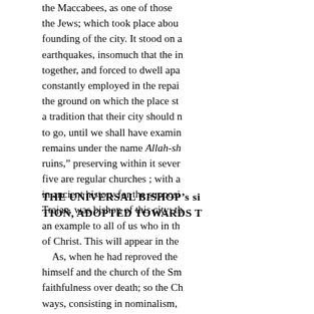the Maccabees, as one of those the Jews; which took place abou founding of the city. It stood on a earthquakes, insomuch that the in together, and forced to dwell apa constantly employed in the repai the ground on which the place st a tradition that their city should n to go, until we shall have examin remains under the name Allah-sh ruins," preserving within it sever five are regular churches ; with a in ancient history for the supposi Trajan, was bishop of this city; th an example to all of us who in th of Christ. This will appear in the
THE UNIVERSAL BISHOP's si TION, ADOPTED TOWARDS T
As, when he had reproved the himself and the church of the Sm faithfulness over death; so the Ch ways, consisting in nominalism, give, in this epistle to Philadelph